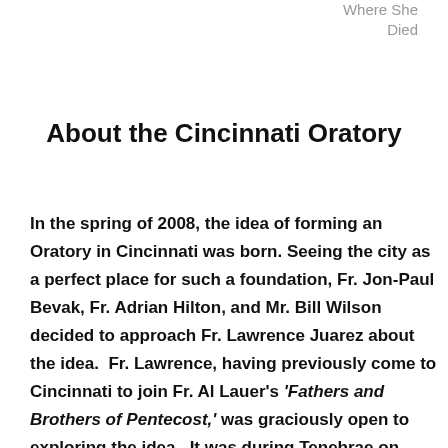Where She Died
About the Cincinnati Oratory
In the spring of 2008, the idea of forming an Oratory in Cincinnati was born. Seeing the city as a perfect place for such a foundation, Fr. Jon-Paul Bevak, Fr. Adrian Hilton, and Mr. Bill Wilson decided to approach Fr. Lawrence Juarez about the idea.  Fr. Lawrence, having previously come to Cincinnati to join Fr. Al Lauer's 'Fathers and Brothers of Pentecost,' was graciously open to exploring the idea.  It was during Tenebrae on Good Friday 2008 at Old St. Mary's Church that the group truly felt